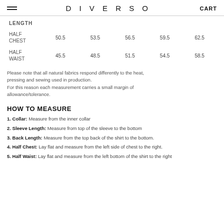DIVERSO | CART
| LENGTH |  |  |  |  |  |
| --- | --- | --- | --- | --- | --- |
| HALF CHEST | 50.5 | 53.5 | 56.5 | 59.5 | 62.5 |
| HALF WAIST | 45.5 | 48.5 | 51.5 | 54.5 | 58.5 |
Please note that all natural fabrics respond differently to the heat, pressing and sewing used in production.
For this reason each measurement carries a small margin of allowance/tolerance.
HOW TO MEASURE
1. Collar: Measure from the inner collar
2. Sleeve Length: Measure from top of the sleeve to the bottom
3. Back Length: Measure from the top back of the shirt to the bottom.
4. Half Chest: Lay flat and measure from the left side of chest to the right.
5. Half Waist: Lay flat and measure from the left bottom of the shirt to the right